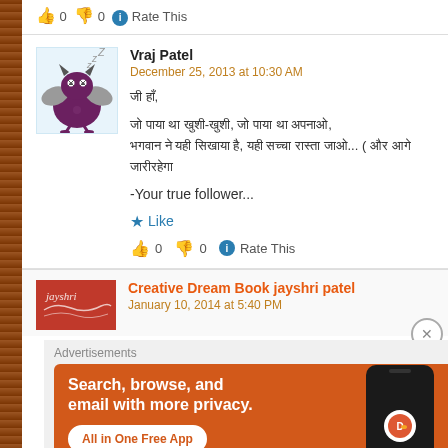👍 0 👎 0 ℹ Rate This
Vraj Patel
December 25, 2013 at 10:30 AM
जी हाँ,

जो पाया था खुशी-खुशी, जो पाया था अपनाओ,
भगवान ने यही सिखाया है, यही सच्चा रास्ता जाओ... ( और आगे जारीरहेगा

-Your true follower...

★ Like

👍 0 👎 0 ℹ Rate This
Creative Dream Book jayshri patel
January 10, 2014 at 5:40 PM
[Figure (infographic): DuckDuckGo advertisement banner: orange background with text 'Search, browse, and email with more privacy. All in One Free App' and a phone showing DuckDuckGo logo]
Advertisements